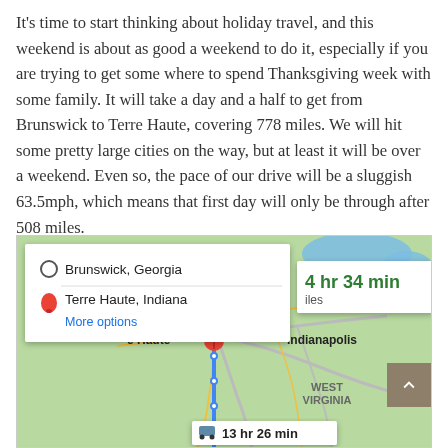It's time to start thinking about holiday travel, and this weekend is about as good a weekend to do it, especially if you are trying to get some where to spend Thanksgiving week with some family. It will take a day and a half to get from Brunswick to Terre Haute, covering 778 miles. We will hit some pretty large cities on the way, but at least it will be over a weekend. Even so, the pace of our drive will be a sluggish 63.5mph, which means that first day will only be through after 508 miles.
[Figure (map): Google Maps screenshot showing driving directions from Brunswick, Georgia to Terre Haute, Indiana. The map shows a route through the southeastern and midwestern United States. A directions popup shows the two locations. A green duration box shows '4 hr 34 min' and partial miles text. Indianapolis is labeled on the map. West Virginia is labeled. A bottom box shows a car icon and '13 hr 26 min'.]